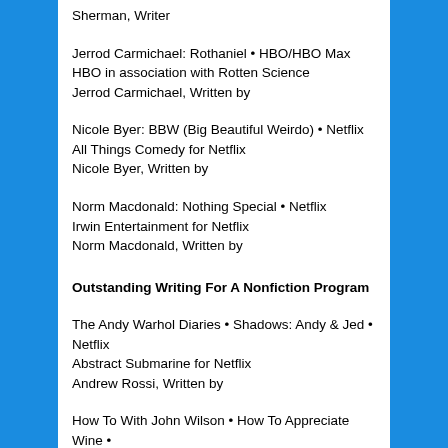Sherman, Writer
Jerrod Carmichael: Rothaniel • HBO/HBO Max
HBO in association with Rotten Science
Jerrod Carmichael, Written by
Nicole Byer: BBW (Big Beautiful Weirdo) • Netflix
All Things Comedy for Netflix
Nicole Byer, Written by
Norm Macdonald: Nothing Special • Netflix
Irwin Entertainment for Netflix
Norm Macdonald, Written by
Outstanding Writing For A Nonfiction Program
The Andy Warhol Diaries • Shadows: Andy & Jed • Netflix
Abstract Submarine for Netflix
Andrew Rossi, Written by
How To With John Wilson • How To Appreciate Wine •
HBO/HBO Max